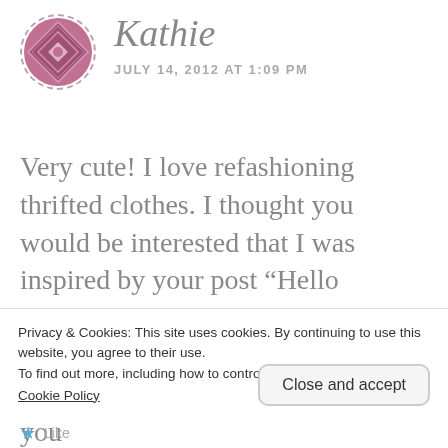Kathie
JULY 14, 2012 AT 1:09 PM
Very cute! I love refashioning thrifted clothes. I thought you would be interested that I was inspired by your post “Hello Handbag” – so I did one also. I found a straw purse at our thrift store for $2. Check out my blog if you
Privacy & Cookies: This site uses cookies. By continuing to use this website, you agree to their use.
To find out more, including how to control cookies, see here:
Cookie Policy
Close and accept
Like